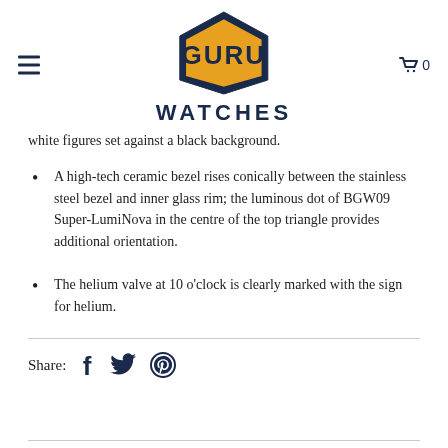[Figure (logo): GURU WATCHES logo: hexagonal orange badge with GURU text in dark navy, and WATCHES text below in large dark navy bold letters]
white figures set against a black background.
A high-tech ceramic bezel rises conically between the stainless steel bezel and inner glass rim; the luminous dot of BGW09 Super-LumiNova in the centre of the top triangle provides additional orientation.
The helium valve at 10 o'clock is clearly marked with the sign for helium.
Share: